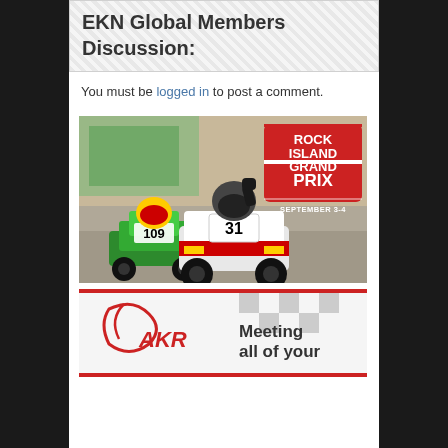EKN Global Members Discussion:
You must be logged in to post a comment.
[Figure (photo): Two go-kart racers on track, kart number 31 in white/red raising fist, kart number 109 in green. Rock Island Grand Prix logo overlay in upper right with text 'ROCK ISLAND GRAND PRIX SEPTEMBER 3-4']
[Figure (photo): AKR advertisement banner showing AKR logo with a stylized kart graphic and text 'Meeting all of your']